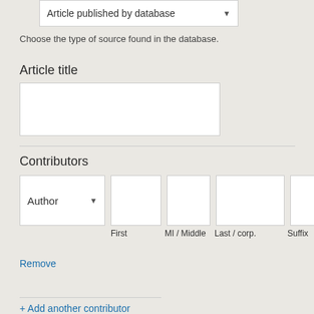[Figure (screenshot): Dropdown box showing 'Article published by database' with a down arrow]
Choose the type of source found in the database.
Article title
[Figure (screenshot): Empty text input box for Article title]
Contributors
[Figure (screenshot): Contributor row with Author dropdown and four text fields labeled First, MI / Middle, Last / corp., Suffix]
Remove
+ Add another contributor